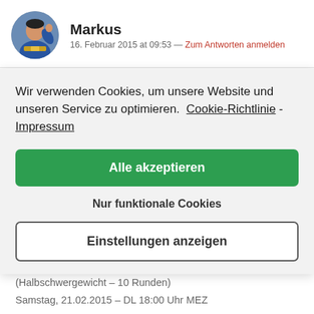[Figure (photo): Circular avatar photo of a boxer (Markus) wearing blue outfit with championship belt, arm raised]
Markus
16. Februar 2015 at 09:53 — Zum Antworten anmelden
Wir verwenden Cookies, um unsere Website und unseren Service zu optimieren.  Cookie-Richtlinie -  Impressum
Alle akzeptieren
Nur funktionale Cookies
Einstellungen anzeigen
Umberto Savigne vs. Craig Baker (Halbschwergewicht – 10 Runden)
Samstag, 21.02.2015 – DL 18:00 Uhr MEZ